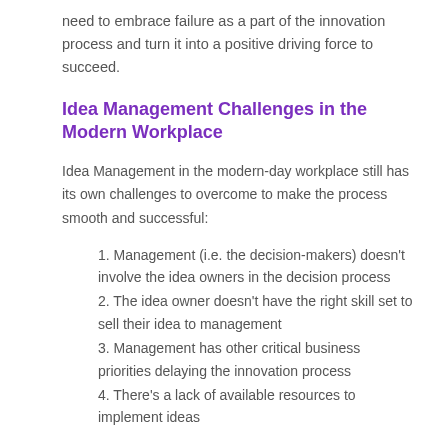need to embrace failure as a part of the innovation process and turn it into a positive driving force to succeed.
Idea Management Challenges in the Modern Workplace
Idea Management in the modern-day workplace still has its own challenges to overcome to make the process smooth and successful:
1. Management (i.e. the decision-makers) doesn't involve the idea owners in the decision process
2. The idea owner doesn't have the right skill set to sell their idea to management
3. Management has other critical business priorities delaying the innovation process
4. There's a lack of available resources to implement ideas
Again, these challenges are not insurmountable. For example, having people with the necessary expertise